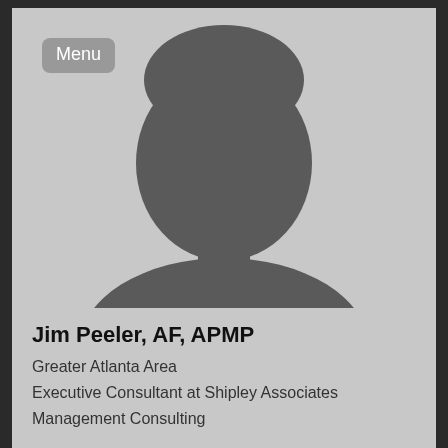[Figure (photo): Generic gray silhouette placeholder profile photo of a person (head and shoulders)]
Jim Peeler, AF, APMP
Greater Atlanta Area
Executive Consultant at Shipley Associates
Management Consulting